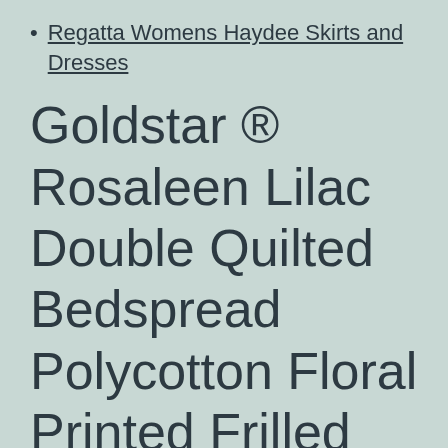Regatta Womens Haydee Skirts and Dresses
Goldstar ® Rosaleen Lilac Double Quilted Bedspread Polycotton Floral Printed Frilled Throw With 2 Pillow Shams